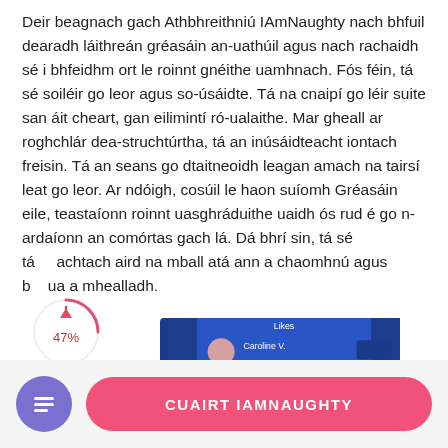Deir beagnach gach Athbhreithniú IAmNaughty nach bhfuil dearadh láithreán gréasáin an-uathúil agus nach rachaidh sé i bhfeidhm ort le roinnt gnéithe uamhnach. Fós féin, tá sé soiléir go leor agus so-úsáidte. Tá na cnaipí go léir suite san áit cheart, gan eilimintí ró-ualaithe. Mar gheall ar roghchlár dea-struchtúrtha, tá an inúsáidteacht iontach freisin. Tá an seans go dtaitneoidh leagan amach na tairsí leat go leor. Ar ndóigh, cosúil le haon suíomh Gréasáin eile, teastaíonn roinnt uasghráduithe uaidh ós rud é go n-ardaíonn an comórtas gach lá. Dá bhrí sin, tá sé tá achtach aird na mball atá ann a chaomhnú agus b ua a mhealladh.
[Figure (screenshot): Partial screenshot of IAmNaughty website interface with blue header]
47%
CUAIRT IAMNAUGHTY